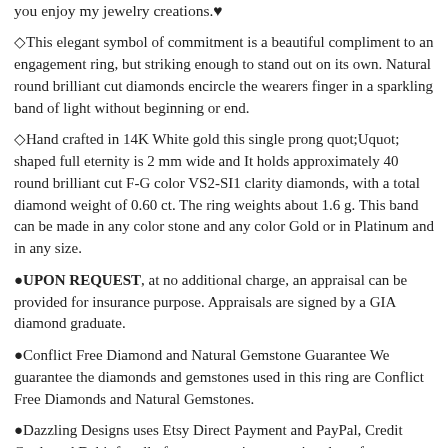you enjoy my jewelry creations.♥
◇This elegant symbol of commitment is a beautiful compliment to an engagement ring, but striking enough to stand out on its own. Natural round brilliant cut diamonds encircle the wearers finger in a sparkling band of light without beginning or end.
◇Hand crafted in 14K White gold this single prong quot;Uquot; shaped full eternity is 2 mm wide and It holds approximately 40 round brilliant cut F-G color VS2-SI1 clarity diamonds, with a total diamond weight of 0.60 ct. The ring weights about 1.6 g. This band can be made in any color stone and any color Gold or in Platinum and in any size.
●UPON REQUEST, at no additional charge, an appraisal can be provided for insurance purpose. Appraisals are signed by a GIA diamond graduate.
●Conflict Free Diamond and Natural Gemstone Guarantee We guarantee the diamonds and gemstones used in this ring are Conflict Free Diamonds and Natural Gemstones.
●Dazzling Designs uses Etsy Direct Payment and PayPal, Credit Cards and Debit for all of our transactions assuring the safest checkout and purchase experience.